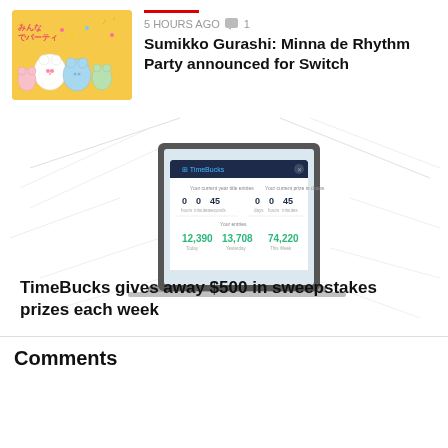[Figure (illustration): Sumikko Gurashi cartoon characters on yellow background with Japanese text]
5 HOURS AGO  1
Sumikko Gurashi: Minna de Rhythm Party announced for Switch
[Figure (screenshot): Advertisement showing a laptop with TimeBucks sweepstakes dashboard interface on a sketchy white background]
TimeBucks gives away $500 in sweepstakes prizes each week
Comments